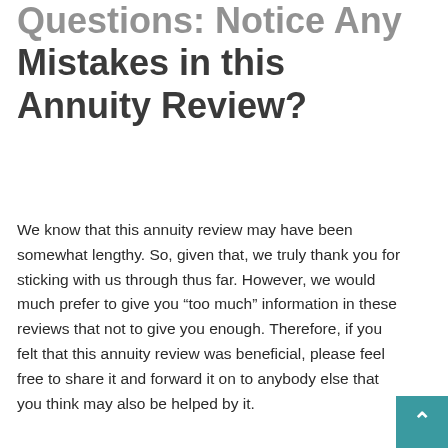Mistakes in this Annuity Review?
We know that this annuity review may have been somewhat lengthy. So, given that, we truly thank you for sticking with us through thus far. However, we would much prefer to give you “too much” information in these reviews that not to give you enough. Therefore, if you felt that this annuity review was beneficial, please feel free to share it and forward it on to anybody else that you think may also be helped by it.